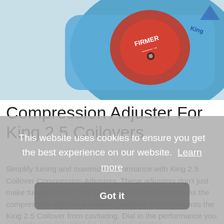[Figure (photo): Close-up photo of a red compression adjuster knob labeled 'FIRMER' on a blue King 2.5 coilover shock absorber body]
Compression Adjuster For King 2.5 Coilovers
Simplify tuning and maximize performance with King 2.5 Coilover Compression Adjusters. These adjusters don't just make tuning simple, they also improve performance. As the compression adjuster increases damping it also prevents the King 2.5 Coilover from cavitating. Dial in the performance you desire with
Compression Adjusters for 2.5 King Coilovers.
This website uses cookies to ensure you get the best experience on our website. Learn more
Got it